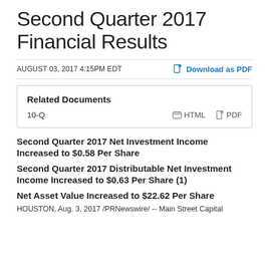Second Quarter 2017 Financial Results
AUGUST 03, 2017 4:15PM EDT
Download as PDF
Related Documents
10-Q   HTML   PDF
Second Quarter 2017 Net Investment Income Increased to $0.58 Per Share
Second Quarter 2017 Distributable Net Investment Income Increased to $0.63 Per Share (1)
Net Asset Value Increased to $22.62 Per Share
HOUSTON, Aug. 3, 2017 /PRNewswire/ -- Main Street Capital